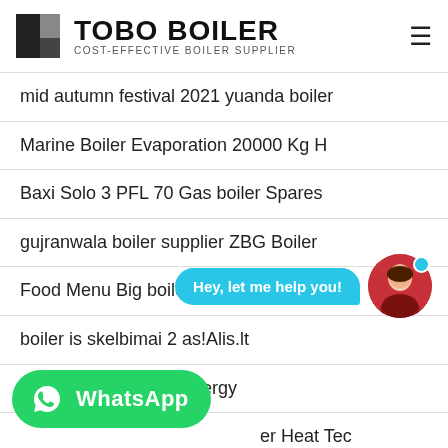TOBO BOILER — COST-EFFECTIVE BOILER SUPPLIER
mid autumn festival 2021 yuanda boiler
Marine Boiler Evaporation 20000 Kg H
Baxi Solo 3 PFL 70 Gas boiler Spares
gujranwala boiler supplier ZBG Boiler
Food Menu Big boiler Brewing LLC
boiler is skelbimai 2 as!Alis.lt
stem boiler austrian energy
er Heat Tec
Egg boiler Instructions Lakeland
[Figure (screenshot): Chat support bubble with text 'Hey, let me help you!' in cyan/blue, with female avatar and blue dot indicator]
[Figure (logo): WhatsApp green button with icon and text 'WhatsApp']